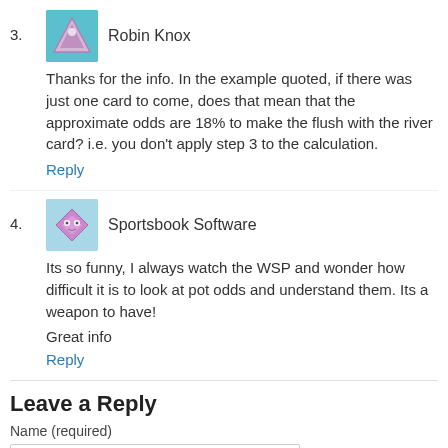3. Robin Knox — Thanks for the info. In the example quoted, if there was just one card to come, does that mean that the approximate odds are 18% to make the flush with the river card? i.e. you don't apply step 3 to the calculation. [Reply]
4. Sportsbook Software — Its so funny, I always watch the WSP and wonder how difficult it is to look at pot odds and understand them. Its a weapon to have! Great info [Reply]
Leave a Reply
Name (required)